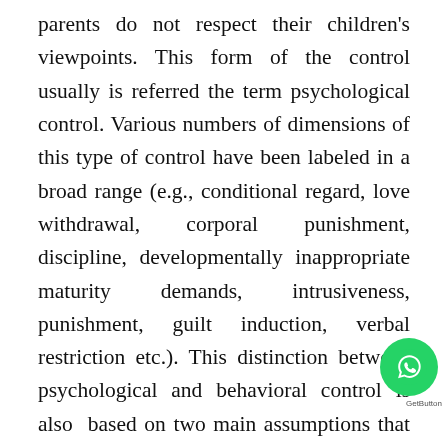parents do not respect their children's viewpoints. This form of the control usually is referred the term psychological control. Various numbers of dimensions of this type of control have been labeled in a broad range (e.g., conditional regard, love withdrawal, corporal punishment, discipline, developmentally inappropriate maturity demands, intrusiveness, punishment, guilt induction, verbal restriction etc.). This distinction between psychological and behavioral control is also based on two main assumptions that is related to the requirements of child development. Firstly, it includes a sufficient level of psychological autonomy by which child learns social interaction to develop personal identity. Another fundamental presupposition is that adequate regulation of